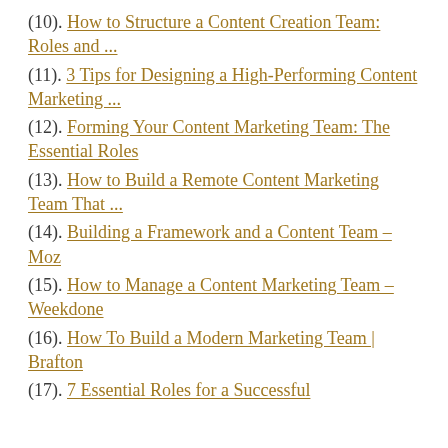(10). How to Structure a Content Creation Team: Roles and ...
(11). 3 Tips for Designing a High-Performing Content Marketing ...
(12). Forming Your Content Marketing Team: The Essential Roles
(13). How to Build a Remote Content Marketing Team That ...
(14). Building a Framework and a Content Team – Moz
(15). How to Manage a Content Marketing Team – Weekdone
(16). How To Build a Modern Marketing Team | Brafton
(17). 7 Essential Roles for a Successful